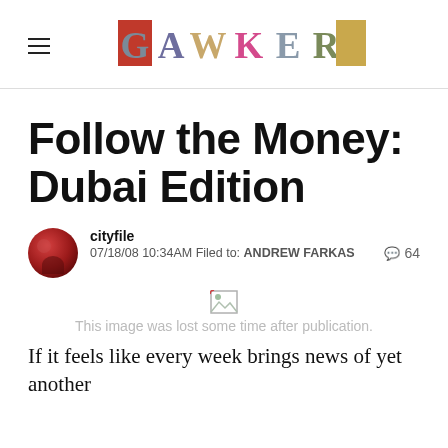GAWKER
Follow the Money: Dubai Edition
cityfile
07/18/08 10:34AM Filed to: ANDREW FARKAS
64
[Figure (other): Broken/lost image placeholder with text: This image was lost some time after publication.]
If it feels like every week brings news of yet another